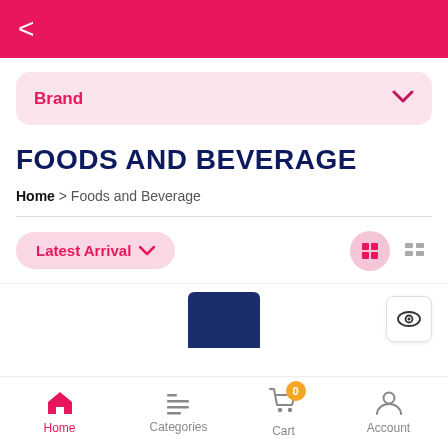[Figure (screenshot): Mobile app top navigation bar with back arrow on pink/red background]
Brand
FOODS AND BEVERAGE
Home > Foods and Beverage
Latest Arrival
[Figure (illustration): Product image - dark blue cylindrical container partially visible]
Home   Categories   Cart   Account